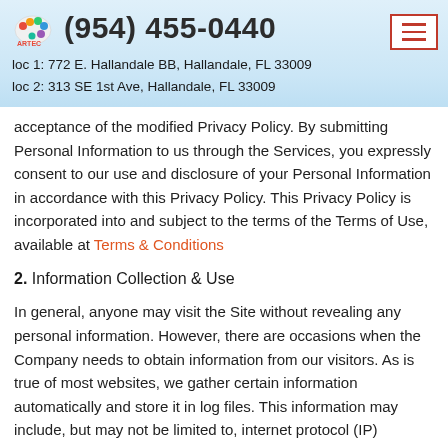(954) 455-0440
loc 1: 772 E. Hallandale BB, Hallandale, FL 33009
loc 2: 313 SE 1st Ave, Hallandale, FL 33009
acceptance of the modified Privacy Policy. By submitting Personal Information to us through the Services, you expressly consent to our use and disclosure of your Personal Information in accordance with this Privacy Policy. This Privacy Policy is incorporated into and subject to the terms of the Terms of Use, available at Terms & Conditions
2. Information Collection & Use
In general, anyone may visit the Site without revealing any personal information. However, there are occasions when the Company needs to obtain information from our visitors. As is true of most websites, we gather certain information automatically and store it in log files. This information may include, but may not be limited to, internet protocol (IP) addresses, browser type, internet service provider (ISP), referring/exit pages, operating system, date/time stamp,